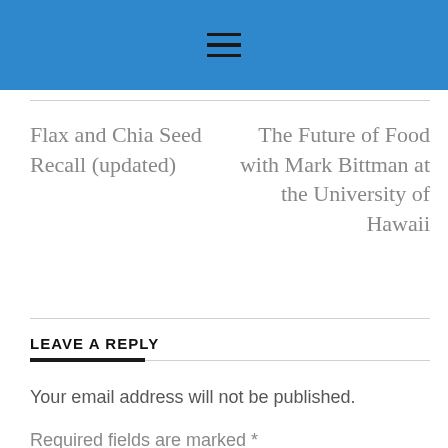[Figure (other): Blue header navigation bar with hamburger menu icon (three horizontal lines)]
Flax and Chia Seed Recall (updated)
The Future of Food with Mark Bittman at the University of Hawaii
LEAVE A REPLY
Your email address will not be published.
Required fields are marked *